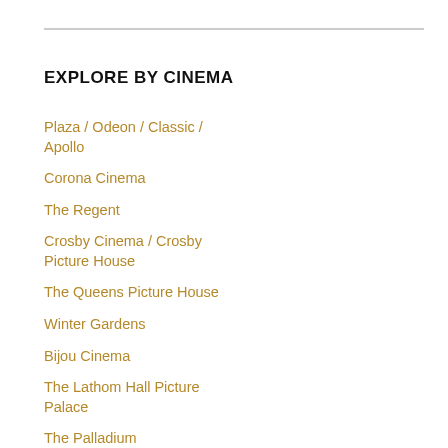EXPLORE BY CINEMA
Plaza / Odeon / Classic / Apollo
Corona Cinema
The Regent
Crosby Cinema / Crosby Picture House
The Queens Picture House
Winter Gardens
Bijou Cinema
The Lathom Hall Picture Palace
The Palladium
Stella Cinema
Electric Picture Palace
The Regal
The Coliseum / Essoldo
Broadway / Gaumont / Odeon – Bootle
The Gainsborough
Picture Palace Of Bootle
New Princes Theatre / Strand Cinema / Muncaster /